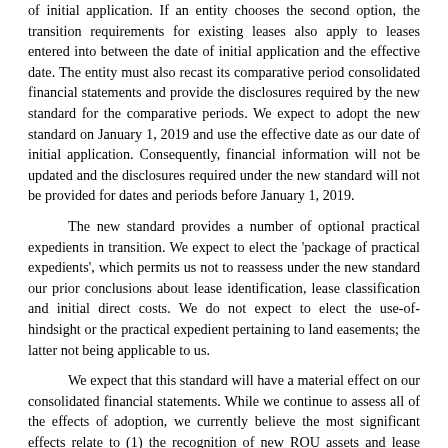of initial application. If an entity chooses the second option, the transition requirements for existing leases also apply to leases entered into between the date of initial application and the effective date. The entity must also recast its comparative period consolidated financial statements and provide the disclosures required by the new standard for the comparative periods. We expect to adopt the new standard on January 1, 2019 and use the effective date as our date of initial application. Consequently, financial information will not be updated and the disclosures required under the new standard will not be provided for dates and periods before January 1, 2019.
The new standard provides a number of optional practical expedients in transition. We expect to elect the 'package of practical expedients', which permits us not to reassess under the new standard our prior conclusions about lease identification, lease classification and initial direct costs. We do not expect to elect the use-of-hindsight or the practical expedient pertaining to land easements; the latter not being applicable to us.
We expect that this standard will have a material effect on our consolidated financial statements. While we continue to assess all of the effects of adoption, we currently believe the most significant effects relate to (1) the recognition of new ROU assets and lease liabilities on our balance sheet for our office and warehouse facility operating leases, and (2) providing significant new disclosures about our leasing activities.
The new standard also provides practical expedients for an entity's ongoing accounting. We currently expect to elect the short-term lease recognition exemption for all leases that qualify. This means, for those leases that qualify, we will not recognize ROU assets or lease liabilities, and this includes not recognizing ROU assets or lease liabilities for existing short-term leases of those assets in transition. We also currently expect to elect the practical